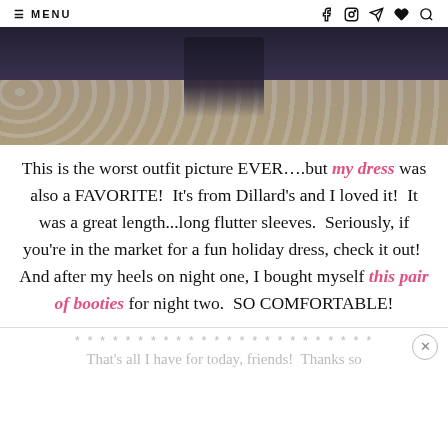≡ MENU  [icons: facebook, instagram, send, heart, search]
[Figure (photo): Partial photo of a person wearing a dark dress, with a floral/scroll patterned floor or fabric visible in the background]
This is the worst outfit picture EVER….but my dress was also a FAVORITE!  It's from Dillard's and I loved it!  It was a great length...long flutter sleeves.  Seriously, if you're in the market for a fun holiday dress, check it out!  And after my heels on night one, I bought myself this pair of booties for night two.  SO COMFORTABLE!
* * * * * * * * * * * * * * * * * * * * * * * *
That's all I have for today, friends!  Thanks so